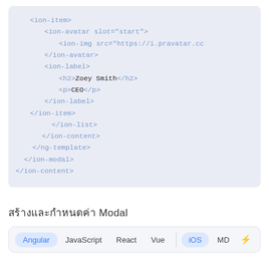[Figure (screenshot): Code block showing HTML/Ionic template markup with ion-item, ion-avatar, ion-img, ion-label, h2, p, closing tags for ion-item, ion-list, ion-content, ng-template, ion-modal, ion-content]
สร้างและกำหนดค่า Modal
Tab bar with Angular (active), JavaScript, React, Vue | iOS (active), MD, lightning icon